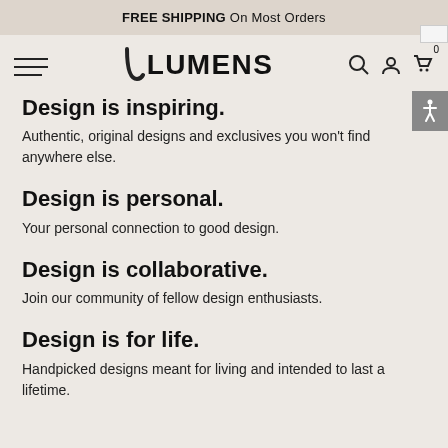FREE SHIPPING On Most Orders
[Figure (logo): Lumens brand logo with hamburger menu, search, account, and cart icons]
Design is inspiring.
Authentic, original designs and exclusives you won't find anywhere else.
Design is personal.
Your personal connection to good design.
Design is collaborative.
Join our community of fellow design enthusiasts.
Design is for life.
Handpicked designs meant for living and intended to last a lifetime.